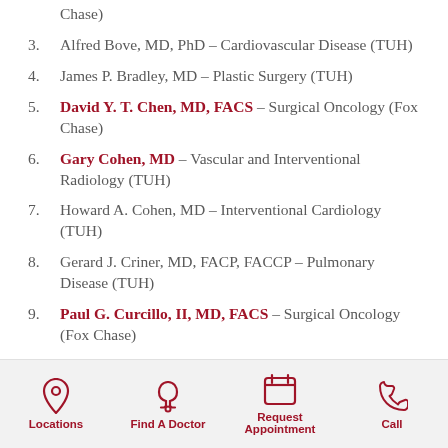Chase)
3. Alfred Bove, MD, PhD – Cardiovascular Disease (TUH)
4. James P. Bradley, MD – Plastic Surgery (TUH)
5. David Y. T. Chen, MD, FACS – Surgical Oncology (Fox Chase)
6. Gary Cohen, MD – Vascular and Interventional Radiology (TUH)
7. Howard A. Cohen, MD – Interventional Cardiology (TUH)
8. Gerard J. Criner, MD, FACP, FACCP – Pulmonary Disease (TUH)
9. Paul G. Curcillo, II, MD, FACS – Surgical Oncology (Fox Chase)
10. Mary B. Daly, MD, PhD, FACP – Medical Oncology (Fox Chase)
Locations | Find A Doctor | Request Appointment | Call